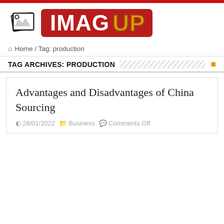[Figure (logo): ImagUp website logo with red banner and stylized image icon]
Home / Tag: production
TAG ARCHIVES: PRODUCTION
Advantages and Disadvantages of China Sourcing
28/01/2022  Business  Comments Off